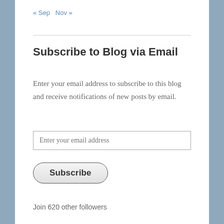« Sep  Nov »
Subscribe to Blog via Email
Enter your email address to subscribe to this blog and receive notifications of new posts by email.
Join 620 other followers